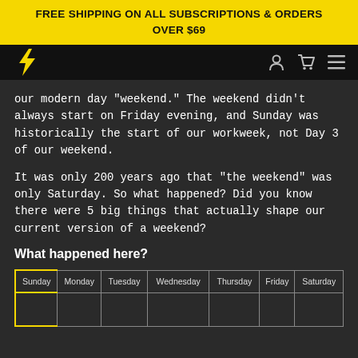FREE SHIPPING ON ALL SUBSCRIPTIONS & ORDERS OVER $69
[Figure (logo): Lightning bolt S logo in yellow on black navigation bar with user, cart, and menu icons]
our modern day “weekend.” The weekend didn’t always start on Friday evening, and Sunday was historically the start of our workweek, not Day 3 of our weekend.
It was only 200 years ago that “the weekend” was only Saturday. So what happened? Did you know there were 5 big things that actually shape our current version of a weekend?
What happened here?
| Sunday | Monday | Tuesday | Wednesday | Thursday | Friday | Saturday |
| --- | --- | --- | --- | --- | --- | --- |
|  |  |  |  |  |  |  |